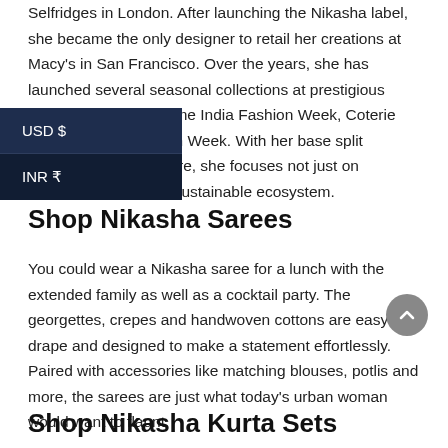Selfridges in London. After launching the Nikasha label, she became the only designer to retail her creations at Macy's in San Francisco. Over the years, she has launched several seasonal collections at prestigious platforms like the Lakme India Fashion Week, Coterie and Shanghai Fashion Week. With her base split between and Singapore, she focuses not just on aesthetics but also a sustainable ecosystem.
[Figure (other): Dropdown currency selector overlay with two options: USD $ and INR ₹ on a dark navy background]
Shop Nikasha Sarees
You could wear a Nikasha saree for a lunch with the extended family as well as a cocktail party. The georgettes, crepes and handwoven cottons are easy to drape and designed to make a statement effortlessly. Paired with accessories like matching blouses, potlis and more, the sarees are just what today's urban woman would want to flaunt.
Shop Nikasha Kurta Sets